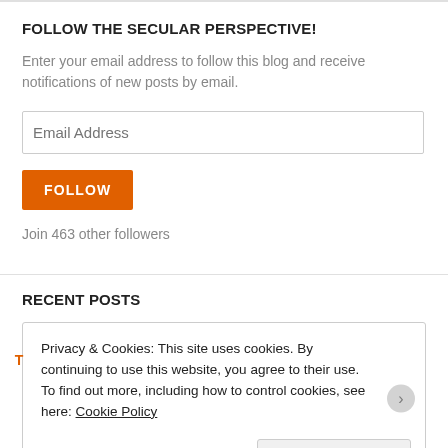FOLLOW THE SECULAR PERSPECTIVE!
Enter your email address to follow this blog and receive notifications of new posts by email.
Email Address
FOLLOW
Join 463 other followers
RECENT POSTS
Privacy & Cookies: This site uses cookies. By continuing to use this website, you agree to their use.
To find out more, including how to control cookies, see here: Cookie Policy
Close and accept